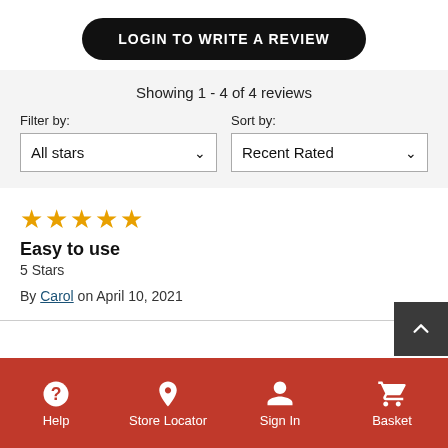LOGIN TO WRITE A REVIEW
Showing 1 - 4 of 4 reviews
Filter by: All stars
Sort by: Recent Rated
★★★★★
Easy to use
5 Stars
By Carol on April 10, 2021
Help  Store Locator  Sign In  Basket